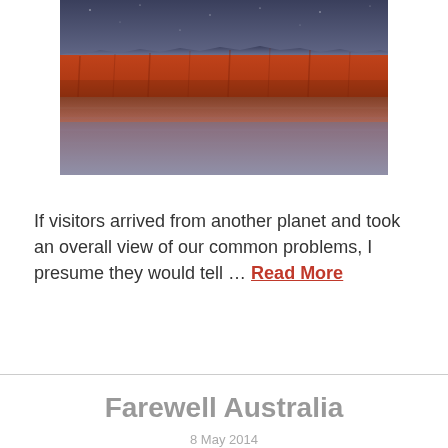[Figure (photo): Landscape photograph of red/orange rocky cliffs reflected in still water below, with a dark sky above. Australian outback scenery.]
If visitors arrived from another planet and took an overall view of our common problems, I presume they would tell … Read More
Farewell Australia
8 May 2014